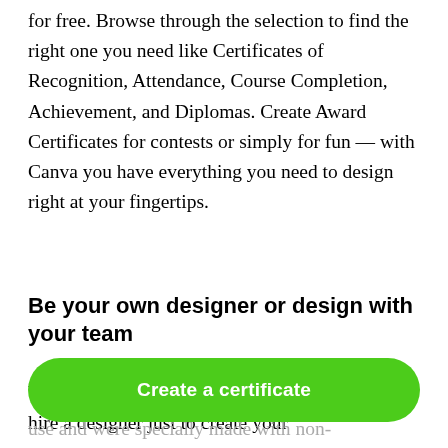for free. Browse through the selection to find the right one you need like Certificates of Recognition, Attendance, Course Completion, Achievement, and Diplomas. Create Award Certificates for contests or simply for fun — with Canva you have everything you need to design right at your fingertips.
Be your own designer or design with your team
With Canva's certificate maker, you won't need to hire a designer just to create your
use and were specially made with non-
Create a certificate